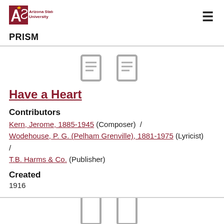ASU Arizona State University | PRISM
[Figure (illustration): Two document/page icons in light gray outline style, side by side]
Have a Heart
Contributors
Kern, Jerome, 1885-1945 (Composer) / Wodehouse, P. G. (Pelham Grenville), 1881-1975 (Lyricist) / T.B. Harms & Co. (Publisher)
Created
1916
[Figure (illustration): Two document/page icons in light gray outline style, side by side, partially visible at bottom]